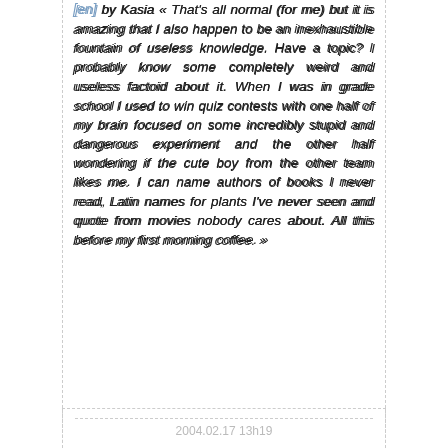[en] by Kasia « That's all normal (for me) but it is amazing that I also happen to be an inexhaustible fountain of useless knowledge. Have a topic? I probably know some completely weird and useless factoid about it. When I was in grade school I used to win quiz contests with one half of my brain focused on some incredibly stupid and dangerous experiment and the other half wondering if the cute boy from the other team likes me. I can name authors of books I never read, Latin names for plants I've never seen and quote from movies nobody cares about. All this before my first morning coffee. »
aàlp: La Feuille, blog littéraire, via Heileen
2004.02.17 13h19